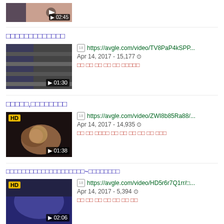[Figure (screenshot): Video thumbnail at top showing duration 02:45]
□□□□□□□□□□□□□
[Figure (screenshot): Video thumbnail with duration 01:30, https://avgle.com/video/TV8PaP4kSPP... Apr 14, 2017 - 15,177 views]
□□□□□,□□□□□□□□
[Figure (screenshot): HD video thumbnail with duration 01:38, https://avgle.com/video/ZWI8b85Ra88/... Apr 14, 2017 - 14,935 views]
□□□□□□□□□□□□□□□□□□□□~□□□□□□□□
[Figure (screenshot): HD video thumbnail with duration 02:06, https://avgle.com/video/HD5r6r7Q1rr/□... Apr 14, 2017 - 5,394 views]
□□□□□□□□□□
[Figure (screenshot): HD video thumbnail, https://avgle.com/video/hw4M4Mf6pM... Apr 14, 2017 - 37,517 views]